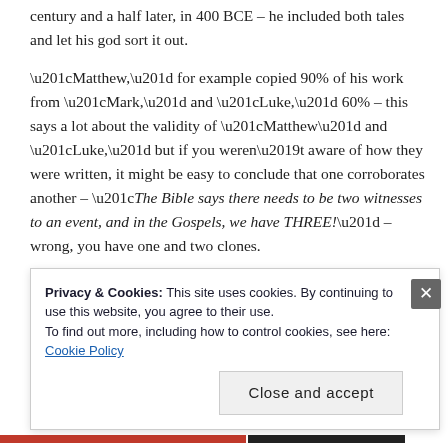century and a half later, in 400 BCE – he included both tales and let his god sort it out.
“Matthew,” for example copied 90% of his work from “Mark,” and “Luke,” 60% – this says a lot about the validity of “Matthew” and “Luke,” but if you weren’t aware of how they were written, it might be easy to conclude that one corroborates another – “The Bible says there needs to be two witnesses to an event, and in the Gospels, we have THREE!” – wrong, you have one and two clones.
Privacy & Cookies: This site uses cookies. By continuing to use this website, you agree to their use. To find out more, including how to control cookies, see here: Cookie Policy